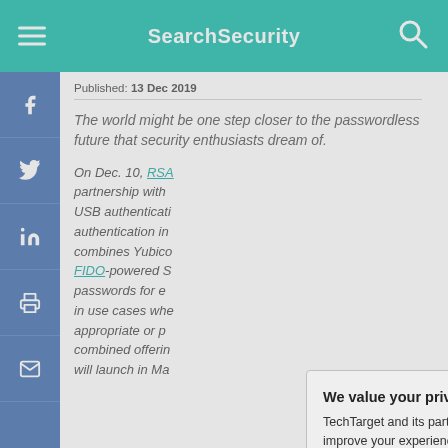SearchSecurity
Published: 13 Dec 2019
The world might be one step closer to the passwordless future that security enthusiasts dream of.
On Dec. 10, RSA announced a partnership with Yubico to launch a USB authentication key for authentication in... combines Yubico... FIDO-powered S... passwords for e... in use cases wh... appropriate or p... combined offerim... will launch in Ma...
We value your privacy.
TechTarget and its partners employ cookies to improve your experience on our site, to analyze traffic and performance, and to serve personalized content and advertising that are relevant to your professional interests. You can manage your settings at any time. Please view our Privacy Policy for more information